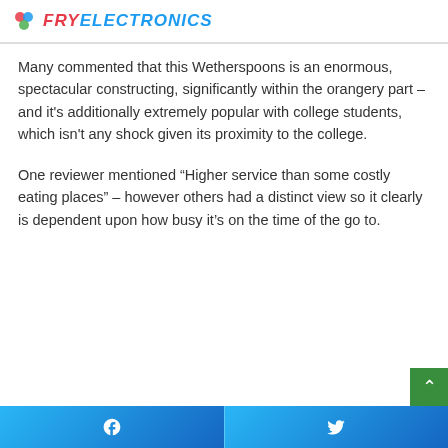FRY ELECTRONICS
Many commented that this Wetherspoons is an enormous, spectacular constructing, significantly within the orangery part – and it's additionally extremely popular with college students, which isn't any shock given its proximity to the college.
One reviewer mentioned “Higher service than some costly eating places” – however others had a distinct view so it clearly is dependent upon how busy it’s on the time of the go to.